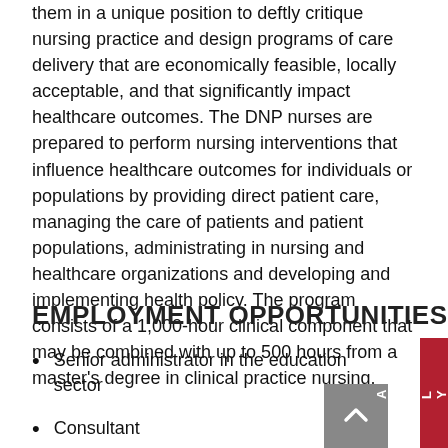them in a unique position to deftly critique nursing practice and design programs of care delivery that are economically feasible, locally acceptable, and that significantly impact healthcare outcomes. The DNP nurses are prepared to perform nursing interventions that influence healthcare outcomes for individuals or populations by providing direct patient care, managing the care of patients and patient populations, administrating in nursing and healthcare organizations and developing and implementing health policy. The program consists of a 1,000-hour clinical component that may be combined with up to 500 hours from a master's degree in clinical practice nursing.
EMPLOYMENT OPPORTUNITIES
Senior administrator in the education sector
Consultant
Professor/Researcher